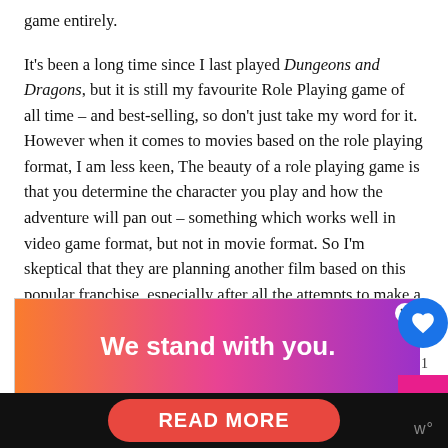game entirely.
It's been a long time since I last played Dungeons and Dragons, but it is still my favourite Role Playing game of all time – and best-selling, so don't just take my word for it. However when it comes to movies based on the role playing format, I am less keen, The beauty of a role playing game is that you determine the character you play and how the adventure will pan out – something which works well in video game format, but not in movie format. So I'm skeptical that they are planning another film based on this popular franchise, especially after all the attempts to make a film have generally tanked in relative mediocrity.
[Figure (other): Advertisement banner reading 'We stand with you.' with colorful gradient background (orange, pink, purple) and a close button]
READ MORE